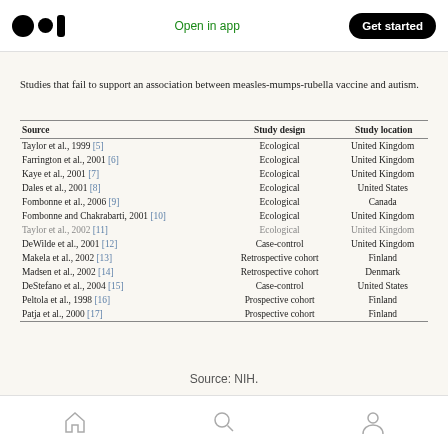Open in app  Get started
Studies that fail to support an association between measles-mumps-rubella vaccine and autism.
| Source | Study design | Study location |
| --- | --- | --- |
| Taylor et al., 1999 [5] | Ecological | United Kingdom |
| Farrington et al., 2001 [6] | Ecological | United Kingdom |
| Kaye et al., 2001 [7] | Ecological | United Kingdom |
| Dales et al., 2001 [8] | Ecological | United States |
| Fombonne et al., 2006 [9] | Ecological | Canada |
| Fombonne and Chakrabarti, 2001 [10] | Ecological | United Kingdom |
| Taylor et al., 2002 [11] | Ecological | United Kingdom |
| DeWilde et al., 2001 [12] | Case-control | United Kingdom |
| Makela et al., 2002 [13] | Retrospective cohort | Finland |
| Madsen et al., 2002 [14] | Retrospective cohort | Denmark |
| DeStefano et al., 2004 [15] | Case-control | United States |
| Peltola et al., 1998 [16] | Prospective cohort | Finland |
| Patja et al., 2000 [17] | Prospective cohort | Finland |
Source: NIH.